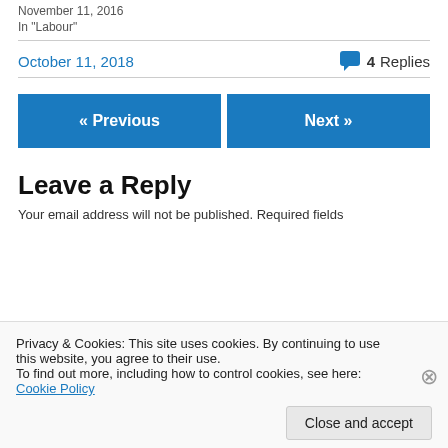November 11, 2016
In "Labour"
October 11, 2018   💬 4 Replies
« Previous
Next »
Leave a Reply
Your email address will not be published. Required fields
Privacy & Cookies: This site uses cookies. By continuing to use this website, you agree to their use. To find out more, including how to control cookies, see here: Cookie Policy
Close and accept